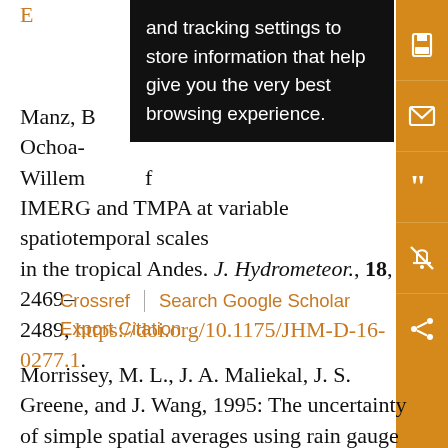E... and tracking settings to store information that help give you the very best browsing experience. (tooltip overlay)
Manz, B... Ochoa-... Willem... IMERG and TMPA at variable spatiotemporal scales in the tropical Andes. J. Hydrometeor., 18, 2469–2489, https://doi.org/10.1175/JHM-D-16-0277.1.
Crossref | Search Google Scholar
Export Citation
Morrissey, M. L., J. A. Maliekal, J. S. Greene, and J. Wang, 1995: The uncertainty of simple spatial averages using rain gauge networks. Water Resour. Res., 31, 2011–2017, https://doi.org/10.1029/95WR01232.